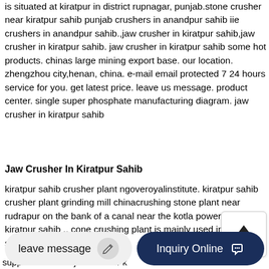is situated at kiratpur in district rupnagar, punjab.stone crusher near kiratpur sahib punjab crushers in anandpur sahib iie crushers in anandpur sahib.,jaw crusher in kiratpur sahib,jaw crusher in kiratpur sahib. jaw crusher in kiratpur sahib some hot products. chinas large mining export base. our location. zhengzhou city,henan, china. e-mail email protected 7 24 hours service for you. get latest price. leave us message. product center. single super phosphate manufacturing diagram. jaw crusher in kiratpur sahib
Jaw Crusher In Kiratpur Sahib
kiratpur sahib crusher plant ngoveroyalinstitute. kiratpur sahib crusher plant grinding mill chinacrushing stone plant near rudrapur on the bank of a canal near the kotla power plant in kiratpur sahib .. cone crushing plant is mainly used in secondary jaw crusher in kiratpur
supplier in kuwait jaw crusher k